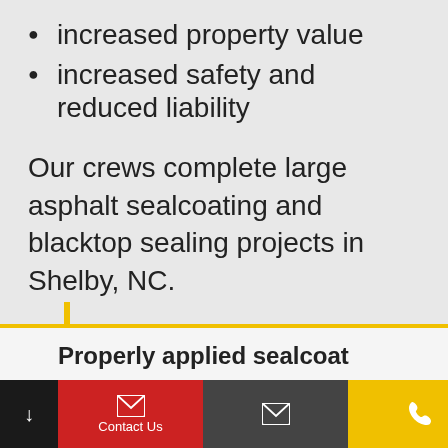increased property value
increased safety and reduced liability
Our crews complete large asphalt sealcoating and blacktop sealing projects in Shelby, NC.
Properly applied sealcoat
Contact Us | email | phone | SMS